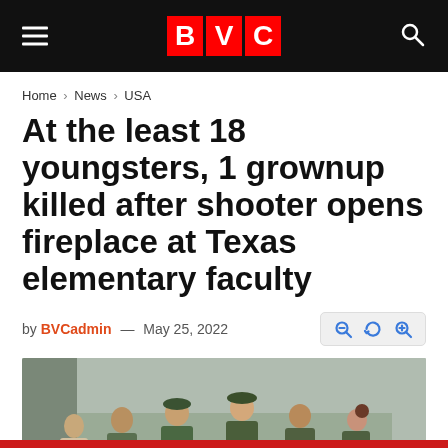BVC
Home > News > USA
At the least 18 youngsters, 1 grownup killed after shooter opens fireplace at Texas elementary faculty
by BVCadmin — May 25, 2022
[Figure (photo): Law enforcement officers in green uniforms gathered with civilians outside a building, responding to an incident at a Texas elementary school.]